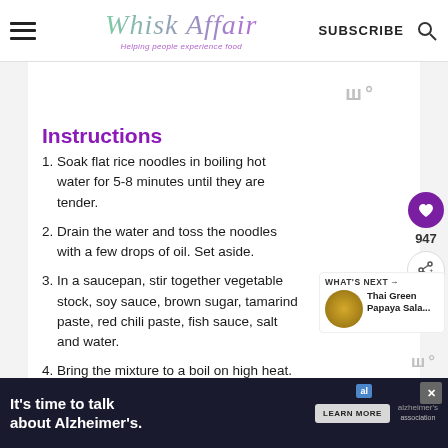Whisk Affair — Helping people experience food | SUBSCRIBE
[Figure (logo): Whisk Affair logo with tagline 'Helping people experience food']
Instructions
Soak flat rice noodles in boiling hot water for 5-8 minutes until they are tender.
Drain the water and toss the noodles with a few drops of oil. Set aside.
In a saucepan, stir together vegetable stock, soy sauce, brown sugar, tamarind paste, red chili paste, fish sauce, salt and water.
Bring the mixture to a boil on high heat. the heat to low and cook for 3-4 minutes. Remove the pan from heat and set it aside. Pad Thai Sauce
[Figure (infographic): WHAT'S NEXT arrow banner: Thai Green Papaya Sala... thumbnail]
[Figure (infographic): Advertisement: It's time to talk about Alzheimer's. LEARN MORE button, Alzheimer's Association logo, close button]